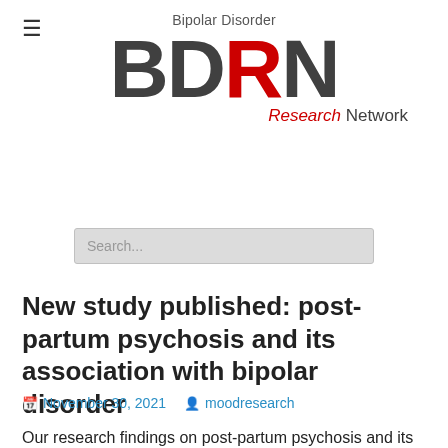[Figure (logo): BDRN - Bipolar Disorder Research Network logo with hamburger menu icon]
[Figure (screenshot): Search input box with placeholder text 'Search...']
New study published: post-partum psychosis and its association with bipolar disorder
November 30, 2021   moodresearch
Our research findings on post-partum psychosis and its association with